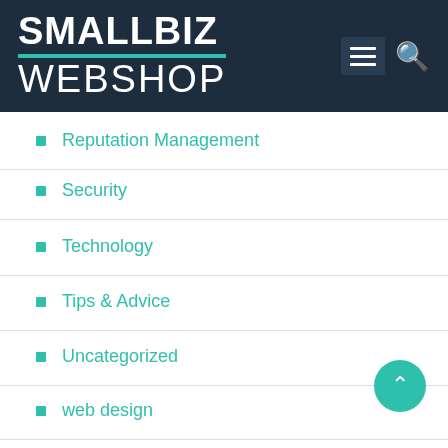SMALLBIZ WEBSHOP
Reputation Management
Security
Technology
Tips & Advice
Uncategorized
web design
Web Hosting & Development
Web Marketing